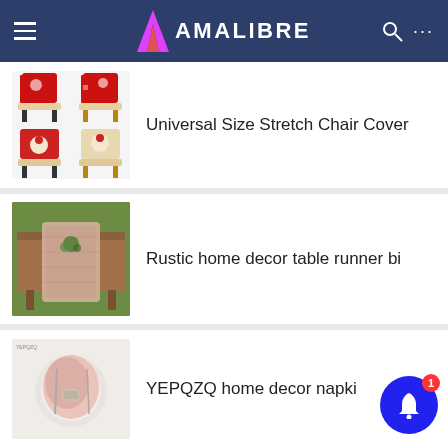AMALIBRE
[Figure (photo): Grid of 4 red Christmas stretch chair covers]
Universal Size Stretch Chair Cover
[Figure (photo): Rustic table with a pink/beige burlap table runner in an outdoor setting]
Rustic home decor table runner bi
[Figure (photo): Pink/blush home decor napkin ring or cloth arrangement on a plate]
YEPQZQ home decor napki